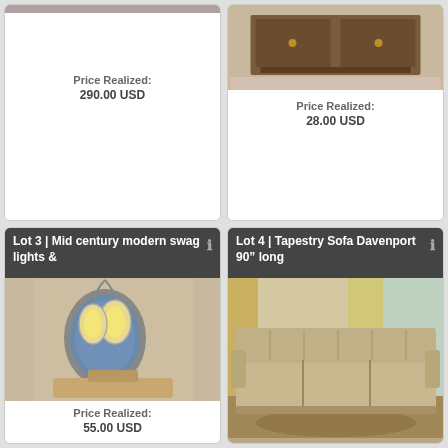Price Realized: 290.00 USD
[Figure (photo): Auction lot photo (top left, partially visible)]
Price Realized: 28.00 USD
[Figure (photo): Wooden dresser/cabinet photo]
Lot 3 | Mid century modern swag lights &
[Figure (photo): Mid century modern swag lights photo]
Price Realized: 55.00 USD
Lot 4 | Tapestry Sofa Davenport 90" long
[Figure (photo): Tapestry sofa davenport photo]